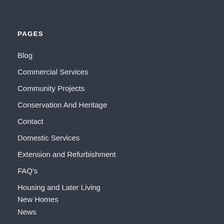PAGES
Blog
Commercial Services
Community Projects
Conservation And Heritage
Contact
Domestic Services
Extension and Refurbishment
FAQ's
Housing and Later Living
New Homes
News
Newsletters
No Access
Portfolio